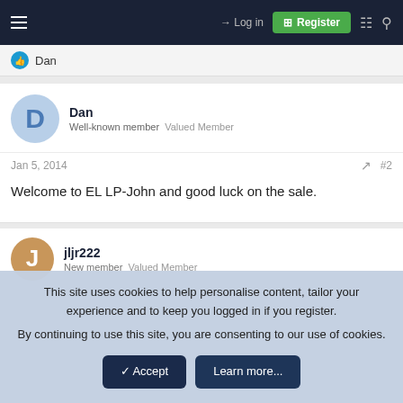Log in  Register
Dan
Dan
Well-known member  Valued Member
Jan 5, 2014  #2
Welcome to EL LP-John and good luck on the sale.
jljr222
New member  Valued Member
This site uses cookies to help personalise content, tailor your experience and to keep you logged in if you register.
By continuing to use this site, you are consenting to our use of cookies.